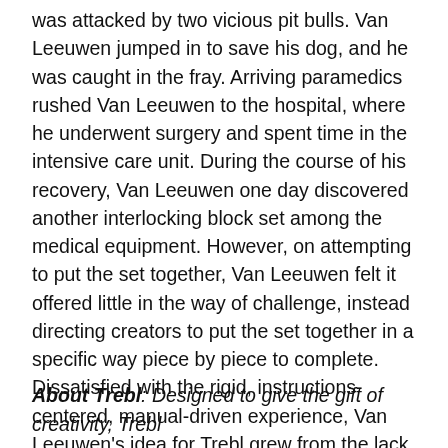was attacked by two vicious pit bulls. Van Leeuwen jumped in to save his dog, and he was caught in the fray. Arriving paramedics rushed Van Leeuwen to the hospital, where he underwent surgery and spent time in the intensive care unit. During the course of his recovery, Van Leeuwen one day discovered another interlocking block set among the medical equipment. However, on attempting to put the set together, Van Leeuwen felt it offered little in the way of challenge, instead directing creators to put the set together in a specific way piece by piece to complete. Dissatisfied with the rigid, instructions-centered, manual-driven experience, Van Leeuwen's idea for Trebl grew from the lack of satisfaction with current brick offerings. For Van Leeuwen—who knew he would potentially face a lengthy period of adjustment and post-traumatic stress—developing and experimenting with Trebl became a form of therapy, the outcome of which he is now proud to share with the world.
About Trebl: Designed to give the gift of creativity, Trebl